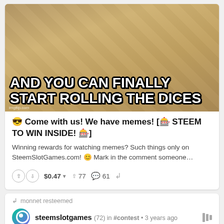[Figure (photo): Meme image of a cat walking on a wooden floor with bold white text: 'AND YOU CAN FINALLY START ROLLING THE DICES'. Imgflip.com watermark in bottom left.]
😎 Come with us! We have memes! [🎰 STEEM TO WIN INSIDE! 🎰]
Winning rewards for watching memes? Such things only on SteemSlotGames.com! 😊 Mark in the comment someone…
↑ ↓ $0.47 ▾   ↑ 77   💬 61   ↺
↺ monnet resteemed
steemslotgames (72) in #contest • 3 years ago
[Figure (screenshot): Banner image for SteemSlotGames with blue tech background, yellow dice and gold coin visible, colorful geometric shapes.]